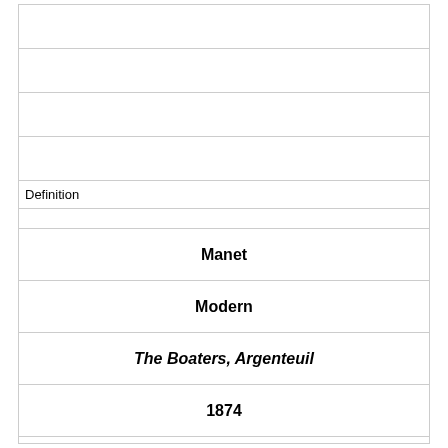|  |
|  |
|  |
|  |
| Definition |
|  |
| Manet |
| Modern |
| The Boaters, Argenteuil |
| 1874 |
|  |
|  |
|  |
|  |
| Term |
| [image] |